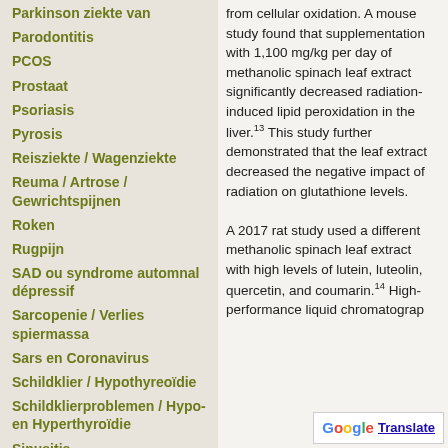Parkinson ziekte van
Parodontitis
PCOS
Prostaat
Psoriasis
Pyrosis
Reisziekte / Wagenziekte
Reuma / Artrose / Gewrichtspijnen
Roken
Rugpijn
SAD ou syndrome automnal dépressif
Sarcopenie / Verlies spiermassa
Sars en Coronavirus
Schildklier / Hypothyreoïdie
Schildklierproblemen / Hypo- en Hyperthyroïdie
Sinusitis
from cellular oxidation. A mouse study found that supplementation with 1,100 mg/kg per day of methanolic spinach leaf extract significantly decreased radiation-induced lipid peroxidation in the liver.13 This study further demonstrated that the leaf extract decreased the negative impact of radiation on glutathione levels. A 2017 rat study used a different methanolic spinach leaf extract with high levels of lutein, luteolin, quercetin, and coumarin.14 High-performance liquid chromatograp...